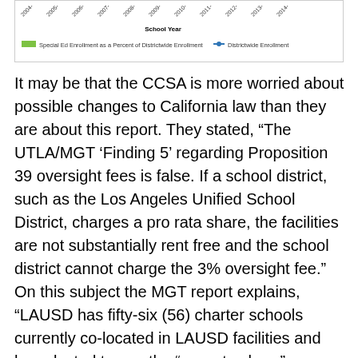[Figure (continuous-plot): Partial view of a line/area chart showing School Year on x-axis (2004 through 2014). Legend shows 'Special Ed Enrollment as a Percent of Districtwide Enrollment' (green bar) and 'Districtwide Enrollment' (blue line with markers). Only the bottom portion (x-axis labels and legend) is visible.]
It may be that the CCSA is more worried about possible changes to California law than they are about this report. They stated, “The UTLA/MGT ‘Finding 5’ regarding Proposition 39 oversight fees is false. If a school district, such as the Los Angeles Unified School District, charges a pro rata share, the facilities are not substantially rent free and the school district cannot charge the 3% oversight fee.” On this subject the MGT report explains, “LAUSD has fifty-six (56) charter schools currently co-located in LAUSD facilities and has elected to use the “pro rata share” approach for facilities charges. By doing so, the district may have determined it may not also charge the 3% oversight fee. However, the majority of the costs included in the pro rata calculation are direct costs that charters